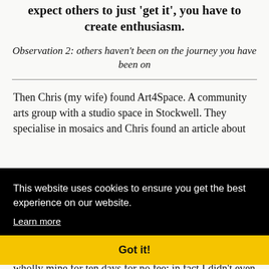expect others to just 'get it', you have to create enthusiasm.
Observation 2: others haven't been on the journey you have been on
Then Chris (my wife) found Art4Space. A community arts group with a studio space in Stockwell. They specialise in mosaics and Chris found an article about
[Figure (screenshot): Cookie consent banner overlay. Black background with white text: 'This website uses cookies to ensure you get the best experience on our website.' with a 'Learn more' link and a yellow 'Got it!' button.]
e was wholly mine for ten days for no fee; in fact I didn't even